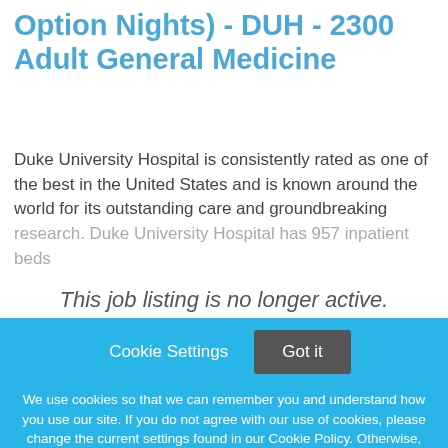Nursing Care Assistant For II (Weekend Option Nights) - DUH - 2300 Adult General Medicine
Duke University Hospital is consistently rated as one of the best in the United States and is known around the world for its outstanding care and groundbreaking research. Duke University Hospital has 957 inpatient beds
This job listing is no longer active.
Cookie Settings
Got it
We use cookies so that we can remember you and understand how you use our site. If you do not agree with our use of cookies, please change the current settings found in our Cookie Policy. Otherwise, you agree to the use of the cookies as they are currently set.